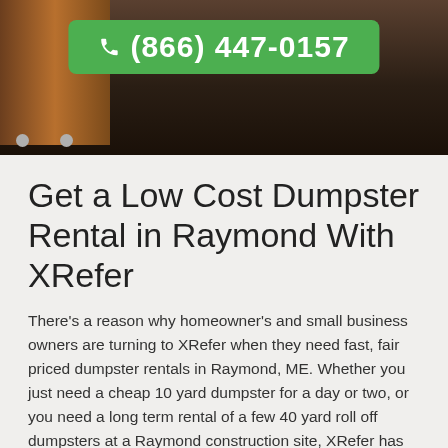[Figure (photo): Dark background hero image with wooden furniture element and a green phone button showing the number (866) 447-0157]
Get a Low Cost Dumpster Rental in Raymond With XRefer
There's a reason why homeowner's and small business owners are turning to XRefer when they need fast, fair priced dumpster rentals in Raymond, ME. Whether you just need a cheap 10 yard dumpster for a day or two, or you need a long term rental of a few 40 yard roll off dumpsters at a Raymond construction site, XRefer has the solutions that you've been looking for. Our customers in Raymond have the benefit of tapping into XRefer's network, which allows them to choose any size dumpster, while also only working with the most reliable, affordable local haulers. When you rent a dumpster in Raymond with XRefer, you can rest easy knowing that we've researched the market